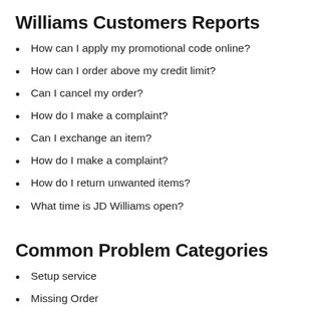Williams Customers Reports
How can I apply my promotional code online?
How can I order above my credit limit?
Can I cancel my order?
How do I make a complaint?
Can I exchange an item?
How do I make a complaint?
How do I return unwanted items?
What time is JD Williams open?
Common Problem Categories
Setup service
Missing Order
Missing Item
A different issue